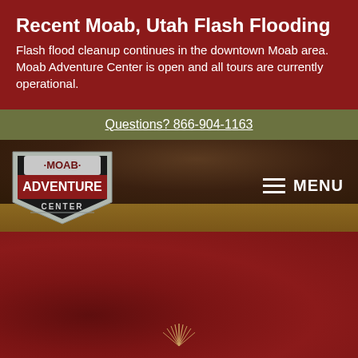Recent Moab, Utah Flash Flooding
Flash flood cleanup continues in the downtown Moab area. Moab Adventure Center is open and all tours are currently operational.
Questions? 866-904-1163
[Figure (logo): Moab Adventure Center shield logo with red background, white text reading MOAB ADVENTURE CENTER]
MENU
[Figure (photo): Textured red background hero section with sunburst icon at bottom center]
BOOK MY ADVENTURE